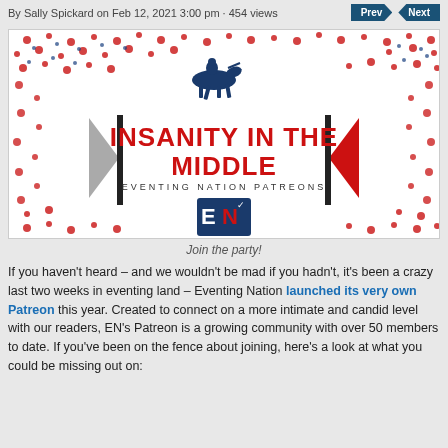By Sally Spickard on Feb 12, 2021 3:00 pm · 454 views
[Figure (illustration): Insanity in the Middle – Eventing Nation Patreons promotional image with horse-and-rider silhouette, red and blue dot background, pennant flags, and EN logo]
Join the party!
If you haven't heard – and we wouldn't be mad if you hadn't, it's been a crazy last two weeks in eventing land – Eventing Nation launched its very own Patreon this year. Created to connect on a more intimate and candid level with our readers, EN's Patreon is a growing community with over 50 members to date. If you've been on the fence about joining, here's a look at what you could be missing out on: